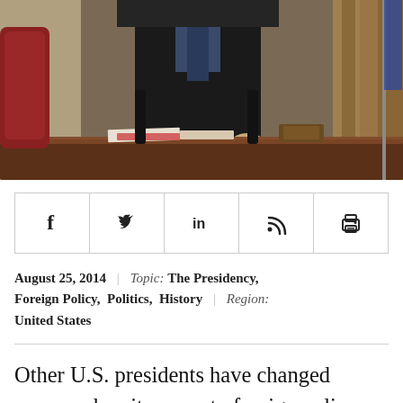[Figure (photo): A photograph of a person standing behind a large wooden desk in what appears to be the Oval Office. The person is partially visible from the torso down, with a red leather chair visible to the left and American flags to the right.]
[Figure (infographic): Social media sharing bar with five icons: Facebook (f), Twitter (bird), LinkedIn (in), RSS feed, and Print (printer icon)]
August 25, 2014 | Topic: The Presidency, Foreign Policy, Politics, History | Region: United States
Other U.S. presidents have changed course when it comes to foreign policy. Will Obama stay the course or change direction?